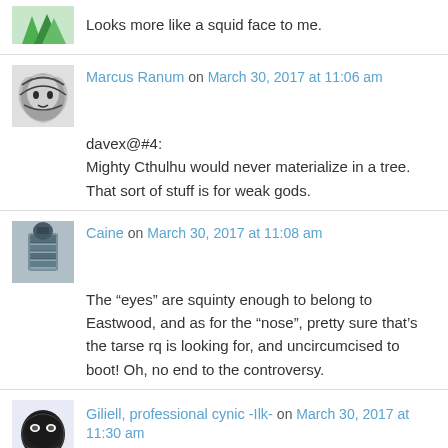Looks more like a squid face to me.
Marcus Ranum on March 30, 2017 at 11:06 am
davex@#4:
Mighty Cthulhu would never materialize in a tree. That sort of stuff is for weak gods.
Caine on March 30, 2017 at 11:08 am
The “eyes” are squinty enough to belong to Eastwood, and as for the “nose”, pretty sure that’s the tarse rq is looking for, and uncircumcised to boot! Oh, no end to the controversy.
Giliell, professional cynic -Ilk- on March 30, 2017 at 11:30 am
Do you see Jesus?
No.
Honestly.